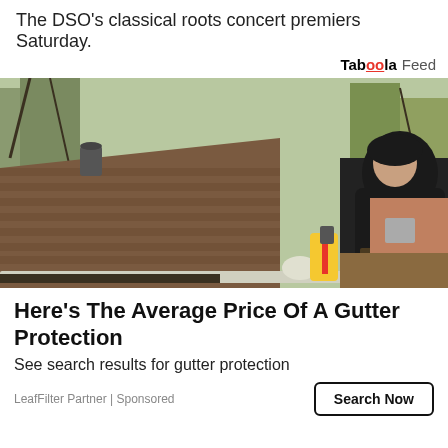The DSO's classical roots concert premiers Saturday.
Taboola Feed
[Figure (photo): A man in a black hoodie jacket using a power tool on roof gutters of a house. He wears gloves and is working on a brown shingle roof with trees in the background.]
Here's The Average Price Of A Gutter Protection
See search results for gutter protection
LeafFilter Partner | Sponsored
Search Now